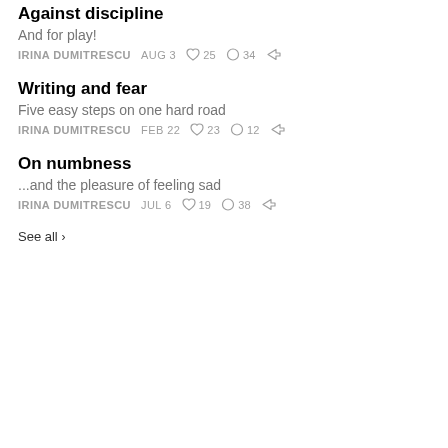Against discipline
And for play!
IRINA DUMITRESCU   AUG 3   ♡ 25   ○ 34   share
Writing and fear
Five easy steps on one hard road
IRINA DUMITRESCU   FEB 22   ♡ 23   ○ 12   share
On numbness
...and the pleasure of feeling sad
IRINA DUMITRESCU   JUL 6   ♡ 19   ○ 38   share
See all ›